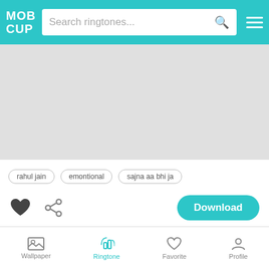MOB CUP - Search ringtones...
[Figure (screenshot): Advertisement placeholder area (grey)]
rahul jain
emontional
sajna aa bhi ja
[Figure (other): Download button with heart and share icons]
Aa Bhi Ja
71  Downloads
jayantabhai ki luv story
aa bhi ja mere mehermaan
Wallpaper  Ringtone  Favorite  Profile